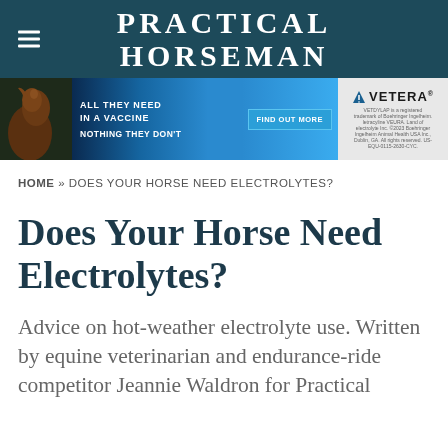PRACTICAL HORSEMAN
[Figure (illustration): Advertisement banner for VETERA vaccine featuring a horse image on a dark blue background. Text reads: ALL THEY NEED IN A VACCINE / FIND OUT MORE / VETERA / NOTHING THEY DON'T]
HOME » DOES YOUR HORSE NEED ELECTROLYTES?
Does Your Horse Need Electrolytes?
Advice on hot-weather electrolyte use. Written by equine veterinarian and endurance-ride competitor Jeannie Waldron for Practical